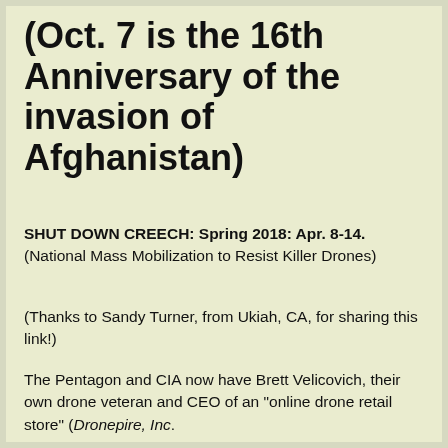(Oct. 7 is the 16th Anniversary of the invasion of Afghanistan)
SHUT DOWN CREECH: Spring 2018: Apr. 8-14.  (National Mass Mobilization to Resist Killer Drones)
(Thanks to Sandy Turner, from Ukiah, CA, for sharing this link!)
The Pentagon and CIA now have Brett Velicovich, their own drone veteran and CEO of an "online drone retail store" (Dronepire, Inc.